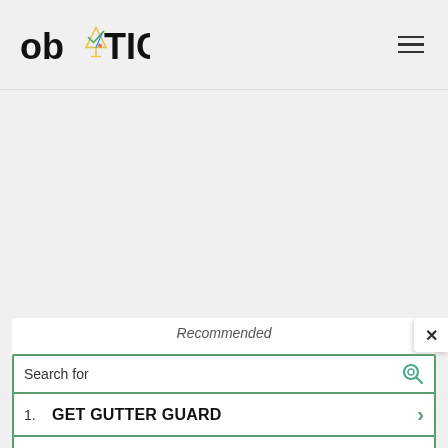[Figure (logo): obYTIC logo with martini glass icon]
[Figure (other): Hamburger menu icon (three horizontal lines)]
[Figure (other): Gray empty content area]
[Figure (other): White recommendation card with 'Recommended' text partially visible, and a close X button]
Recommended
Search for
1. GET GUTTER GUARD
2. TOP EMAIL MARKETING SOFTWARE
Yahoo! Search | Sponsored